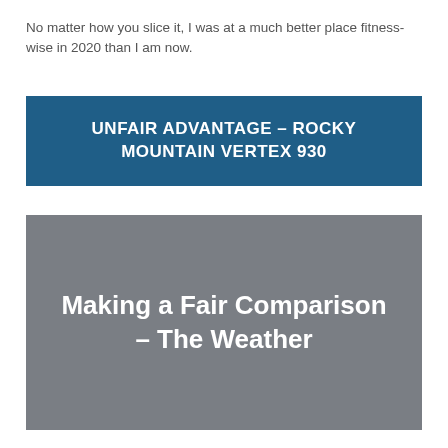No matter how you slice it, I was at a much better place fitness-wise in 2020 than I am now.
UNFAIR ADVANTAGE – ROCKY MOUNTAIN VERTEX 930
Making a Fair Comparison – The Weather